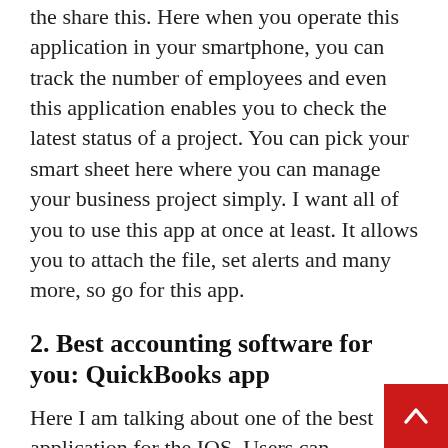the share this. Here when you operate this application in your smartphone, you can track the number of employees and even this application enables you to check the latest status of a project. You can pick your smart sheet here where you can manage your business project simply. I want all of you to use this app at once at least. It allows you to attach the file, set alerts and many more, so go for this app.
2. Best accounting software for you: QuickBooks app
Here I am talking about one of the best application for the IOS. Users can download